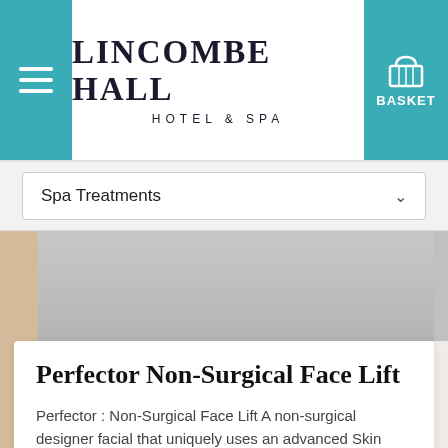LINCOMBE HALL HOTEL & SPA
Spa Treatments
[Figure (photo): Gray image banner area with a tan/beige left strip, representing a spa product or treatment image placeholder]
Perfector Non-Surgical Face Lift
Perfector : Non-Surgical Face Lift A non-surgical designer facial that uniquely uses an advanced Skin Investment Cell Communication Machine to visibly lift, firm, tighten and tone instantly!